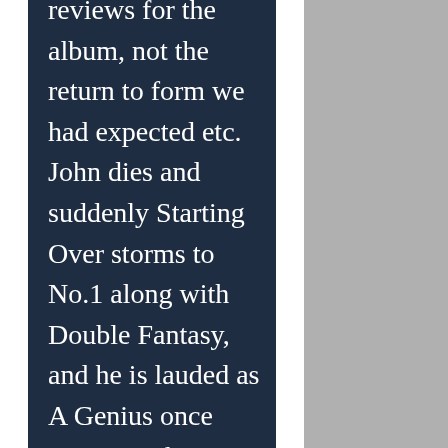reviews for the album, not the return to form we had expected etc. John dies and suddenly Starting Over storms to No.1 along with Double Fantasy, and he is lauded as A Genius once more. Looking at Lennon's solo career without rose-tinted glasses, it really wasn't that hot, was it? A few great singles like Instant Karma, Cold Turkey, Mind Games, No.9 Dream, but none of his solo albums really were amazing.